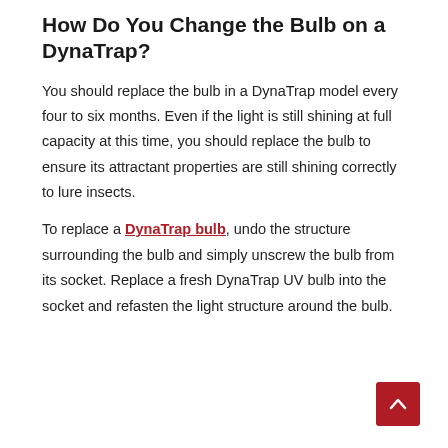How Do You Change the Bulb on a DynaTrap?
You should replace the bulb in a DynaTrap model every four to six months. Even if the light is still shining at full capacity at this time, you should replace the bulb to ensure its attractant properties are still shining correctly to lure insects.
To replace a DynaTrap bulb, undo the structure surrounding the bulb and simply unscrew the bulb from its socket. Replace a fresh DynaTrap UV bulb into the socket and refasten the light structure around the bulb.